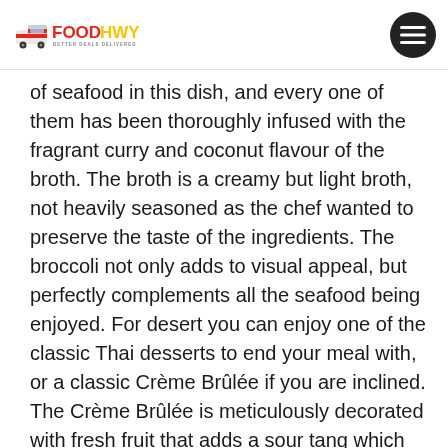FOODHWY - BETTER DEALS DELIVERED
of seafood in this dish, and every one of them has been thoroughly infused with the fragrant curry and coconut flavour of the broth. The broth is a creamy but light broth, not heavily seasoned as the chef wanted to preserve the taste of the ingredients. The broccoli not only adds to visual appeal, but perfectly complements all the seafood being enjoyed. For desert you can enjoy one of the classic Thai desserts to end your meal with, or a classic Crème Brûlée if you are inclined. The Crème Brûlée is meticulously decorated with fresh fruit that adds a sour tang which complements the custard's sweetness to perfection. If you wanted a refined Thai dining experience, you have to visit Lanna Thai Cuisine. This restaurant fully justifies its prices by its